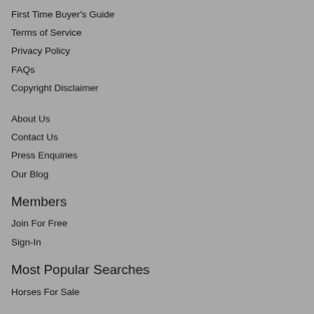First Time Buyer's Guide
Terms of Service
Privacy Policy
FAQs
Copyright Disclaimer
About Us
Contact Us
Press Enquiries
Our Blog
Members
Join For Free
Sign-In
Most Popular Searches
Horses For Sale